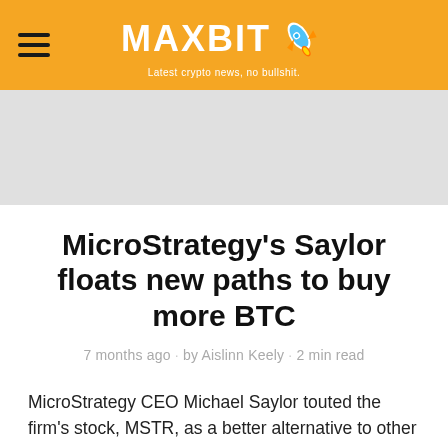MAXBIT — Latest crypto news, no bullshit.
[Figure (other): Orange navigation header bar with hamburger menu icon on left, MAXBIT logo with rocket icon in center, and tagline 'Latest crypto news, no bullshit.']
MicroStrategy's Saylor floats new paths to buy more BTC
7 months ago · by Aislinn Keely · 2 min read
MicroStrategy CEO Michael Saylor touted the firm's stock, MSTR, as a better alternative to other exchange-traded vehicles with exposure to bitcoin — and he's considering alternative methods to increase the amount of bitcoin on